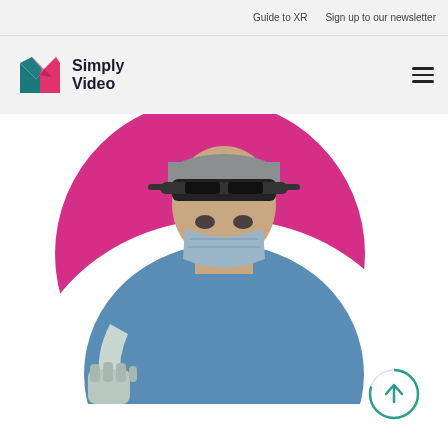Guide to XR   Sign up to our newsletter
[Figure (logo): Simply Video logo with colorful M-shaped icon and text 'Simply Video']
[Figure (photo): Medical professional wearing AR/XR headset (Microsoft HoloLens), surgical mask, gloves, and blue scrubs, raising a fist. Background features a large pink/magenta circle on white.]
[Figure (other): Teal circular scroll-to-top button with upward arrow icon in bottom right corner]